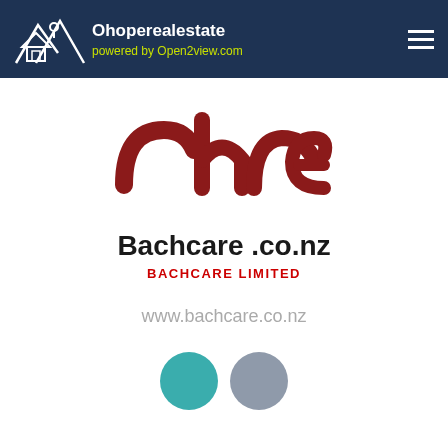Ohoperealestate powered by Open2view.com
[Figure (logo): CHCA logo in dark red/crimson stylized lettering]
Bachcare .co.nz
BACHCARE LIMITED
www.bachcare.co.nz
[Figure (illustration): Two colored circles: teal and gray]